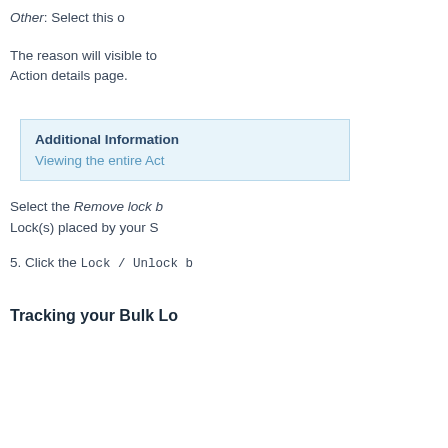Other: Select this o
The reason will visible to
Action details page.
Additional Information
Viewing the entire Act
Select the Remove lock b
Lock(s) placed by your S
5. Click the Lock / Unlock b
Tracking your Bulk Lo